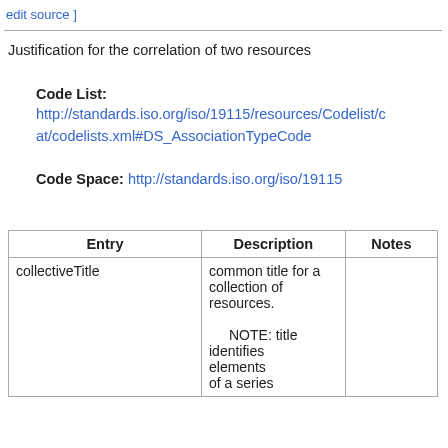edit source ]
Justification for the correlation of two resources
Code List: http://standards.iso.org/iso/19115/resources/Codelist/cat/codelists.xml#DS_AssociationTypeCode
Code Space: http://standards.iso.org/iso/19115
| Entry | Description | Notes |
| --- | --- | --- |
| collectiveTitle | common title for a collection of resources.
    NOTE: title identifies elements of a series |  |